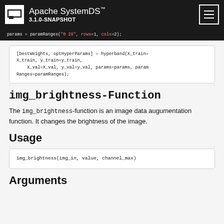Apache SystemDS™ 3.1.0-SNAPSHOT
params = paramRanges("0 29", rows=1, cols=2);
[bestWeights, optHyperParams] = hyperband(X_train=X_train, y_train=y_train,
    X_val=X_val, y_val=y_val, params=params, paramRanges=paramRanges);
img_brightness-Function
The img_brightness-function is an image data augumentation function. It changes the brightness of the image.
Usage
img_brightness(img_in, value, channel_max)
Arguments